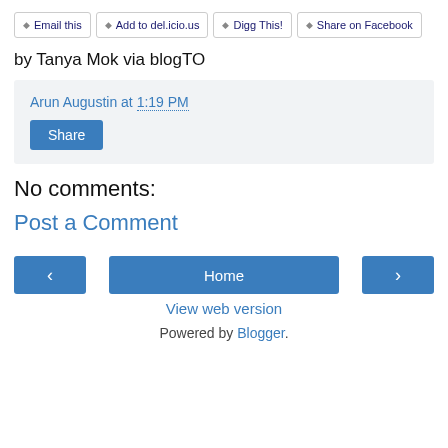◆ Email this | ◆ Add to del.icio.us | ◆ Digg This! | ◆ Share on Facebook
by Tanya Mok via blogTO
Arun Augustin at 1:19 PM
Share
No comments:
Post a Comment
‹ Home › View web version
Powered by Blogger.